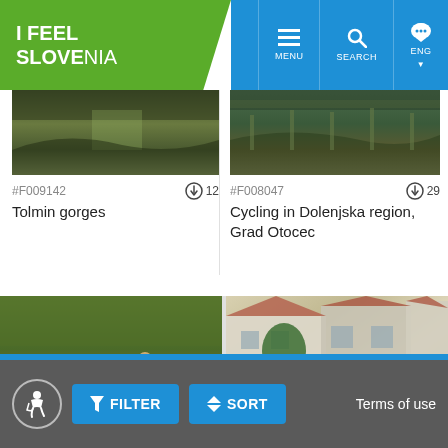[Figure (logo): I Feel Slovenia green logo with white text]
[Figure (screenshot): Navigation bar with MENU, SEARCH, ENG buttons on blue background]
[Figure (photo): Tolmin gorges nature photo]
#F009142  ⬇12
Tolmin gorges
[Figure (photo): Cycling in Dolenjska region, Grad Otocec photo]
#F008047  ⬇29
Cycling in Dolenjska region, Grad Otocec
[Figure (photo): Cyclists on wooden bridge in green forest]
[Figure (photo): Buildings and courtyard scene]
FILTER  SORT  Terms of use